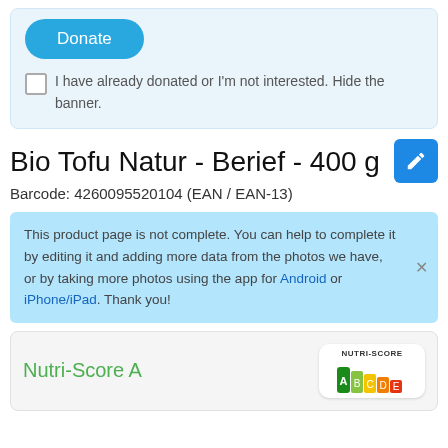[Figure (screenshot): Donate button (rounded blue button with white text 'Donate')]
I have already donated or I'm not interested. Hide the banner.
Bio Tofu Natur - Berief - 400 g
Barcode: 4260095520104 (EAN / EAN-13)
This product page is not complete. You can help to complete it by editing it and adding more data from the photos we have, or by taking more photos using the app for Android or iPhone/iPad. Thank you!
Nutri-Score A